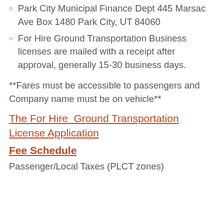Park City Municipal Finance Dept 445 Marsac Ave Box 1480 Park City, UT 84060
For Hire Ground Transportation Business licenses are mailed with a receipt after approval, generally 15-30 business days.
**Fares must be accessible to passengers and Company name must be on vehicle**
The For Hire  Ground Transportation License Application
Fee Schedule
Passenger/Local Taxes (PLCT zones)